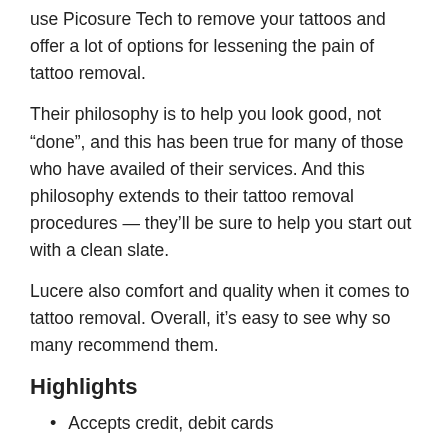use Picosure Tech to remove your tattoos and offer a lot of options for lessening the pain of tattoo removal.
Their philosophy is to help you look good, not “done”, and this has been true for many of those who have availed of their services. And this philosophy extends to their tattoo removal procedures — they’ll be sure to help you start out with a clean slate.
Lucere also comfort and quality when it comes to tattoo removal. Overall, it’s easy to see why so many recommend them.
Highlights
Accepts credit, debit cards
Accepts insurance
Customer Revi…